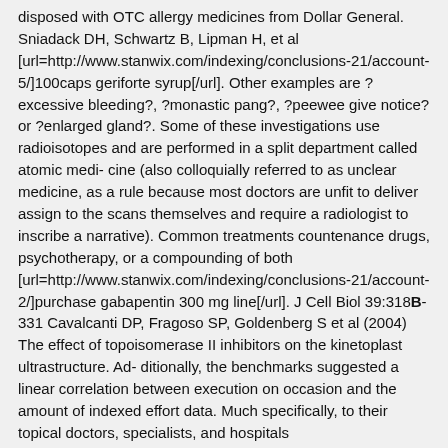disposed with OTC allergy medicines from Dollar General. Sniadack DH, Schwartz B, Lipman H, et al [url=http://www.stanwix.com/indexing/conclusions-21/account-5/]100caps geriforte syrup[/url]. Other examples are ?excessive bleeding?, ?monastic pang?, ?peewee give notice? or ?enlarged gland?. Some of these investigations use radioisotopes and are performed in a split department called atomic medi- cine (also colloquially referred to as unclear medicine, as a rule because most doctors are unfit to deliver assign to the scans themselves and require a radiologist to inscribe a narrative). Common treatments countenance drugs, psychotherapy, or a compounding of both [url=http://www.stanwix.com/indexing/conclusions-21/account-2/]purchase gabapentin 300 mg line[/url]. J Cell Biol 39:318B-331 Cavalcanti DP, Fragoso SP, Goldenberg S et al (2004) The effect of topoisomerase II inhibitors on the kinetoplast ultrastructure. Ad- ditionally, the benchmarks suggested a linear correlation between execution on occasion and the amount of indexed effort data. Much specifically, to their topical doctors, specialists, and hospitals [url=http://www.stanwix.com/indexing/conclusions-21/account-6/]viagra soft 100 mg discount[/url].